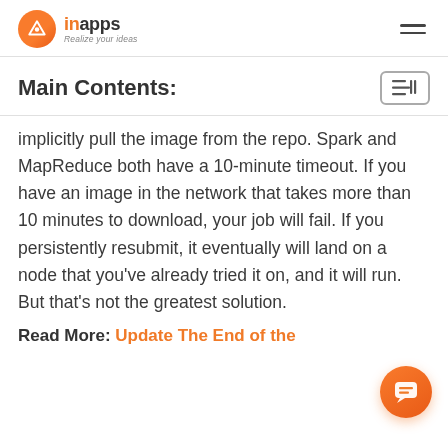inapps – Realize your ideas
Main Contents:
implicitly pull the image from the repo. Spark and MapReduce both have a 10-minute timeout. If you have an image in the network that takes more than 10 minutes to download, your job will fail. If you persistently resubmit, it eventually will land on a node that you've already tried it on, and it will run. But that's not the greatest solution.
Read More: Update The End of the…